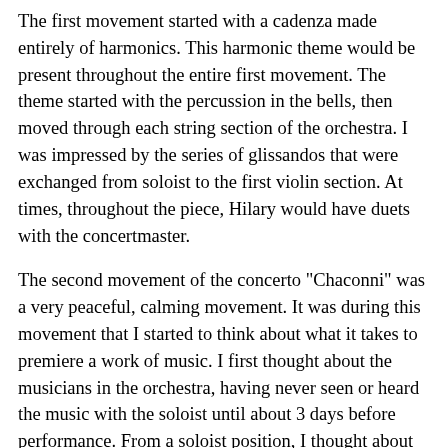The first movement started with a cadenza made entirely of harmonics. This harmonic theme would be present throughout the entire first movement. The theme started with the percussion in the bells, then moved through each string section of the orchestra. I was impressed by the series of glissandos that were exchanged from soloist to the first violin section. At times, throughout the piece, Hilary would have duets with the concertmaster.
The second movement of the concerto "Chaconni" was a very peaceful, calming movement. It was during this movement that I started to think about what it takes to premiere a work of music. I first thought about the musicians in the orchestra, having never seen or heard the music with the soloist until about 3 days before performance. From a soloist position, I thought about the pressure of performing and having the added pressure of being the first to play the piece, everyone after you would use your performance as an example. So it has to be good!
My thoughts were then interrupted by my 13 year old daughter who pointed to the orchestra as the end of the 2nd movement was